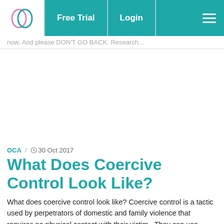Free Trial  Login
now. And please DON'T GO BACK. Research...
[Figure (other): Advertisement/empty white space area]
OCA  /  30 Oct 2017
What Does Coercive Control Look Like?
What does coercive control look like? Coercive control is a tactic used by perpetrators of domestic and family violence that requires no physical contact with their victim.  They can use